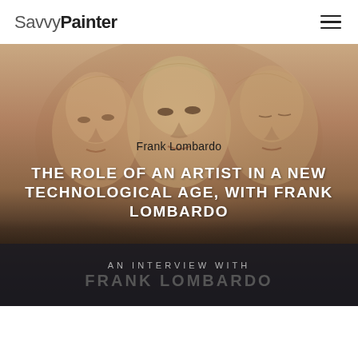SavvyPainter
[Figure (photo): Artistic painting/illustration showing multiple overlapping female faces in warm reddish-brown tones, serving as hero background image for the article]
Frank Lombardo
THE ROLE OF AN ARTIST IN A NEW TECHNOLOGICAL AGE, WITH FRANK LOMBARDO
AN INTERVIEW WITH FRANK LOMBARDO